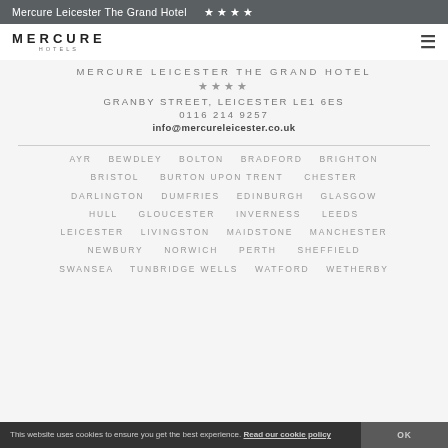Mercure Leicester The Grand Hotel ★★★★
[Figure (logo): Mercure Hotels logo with text MERCURE HOTELS]
MERCURE LEICESTER THE GRAND HOTEL
★★★★
GRANBY STREET, LEICESTER LE1 6ES
0116 214 9257
info@mercureleicester.co.uk
AYR   BEWDLEY   BOLTON   BRADFORD   BRIGHTON   BRISTOL   BURTON UPON TRENT   CHESTER   DARLINGTON   DUMFRIES   EDINBURGH   GLASGOW   HULL   GLOUCESTER   INVERNESS   LEEDS   LEICESTER   LIVINGSTON   MAIDSTONE   MANCHESTER   NEWBURY   NORWICH   PERTH   SHEFFIELD   SWANSEA   TUNBRIDGE WELLS   WATFORD   WETHERBY
This website uses cookies to ensure you get the best experience. Read our cookie policy
OK